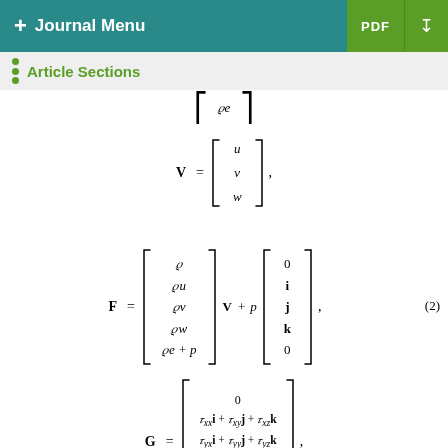+ Journal Menu | PDF ↓
Article Sections